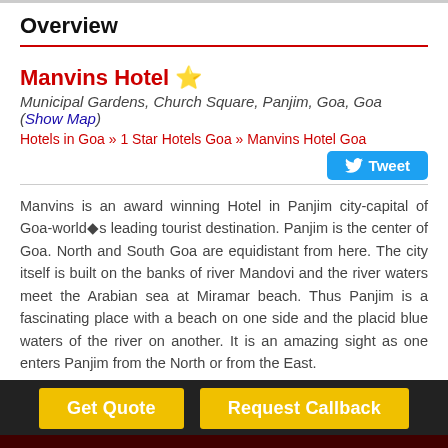Overview
Manvins Hotel ⭐
Municipal Gardens, Church Square, Panjim, Goa, Goa
(Show Map)
Hotels in Goa » 1 Star Hotels Goa » Manvins Hotel Goa
Manvins is an award winning Hotel in Panjim city-capital of Goa-world's leading tourist destination. Panjim is the center of Goa. North and South Goa are equidistant from here. The city itself is built on the banks of river Mandovi and the river waters meet the Arabian sea at Miramar beach. Thus Panjim is a fascinating place with a beach on one side and the placid blue waters of the river on another. It is an amazing sight as one enters Panjim from the North or from the East.
Manvins Hotel Goa Room Rates